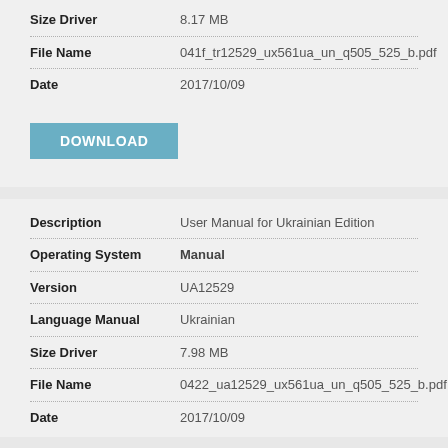| Field | Value |
| --- | --- |
| Size Driver | 8.17 MB |
| File Name | 041f_tr12529_ux561ua_un_q505_525_b.pdf |
| Date | 2017/10/09 |
DOWNLOAD
| Field | Value |
| --- | --- |
| Description | User Manual for Ukrainian Edition |
| Operating System | Manual |
| Version | UA12529 |
| Language Manual | Ukrainian |
| Size Driver | 7.98 MB |
| File Name | 0422_ua12529_ux561ua_un_q505_525_b.pdf |
| Date | 2017/10/09 |